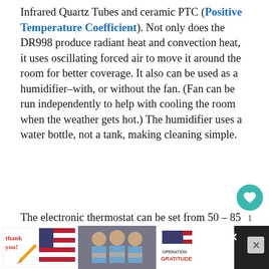Infrared Quartz Tubes and ceramic PTC (Positive Temperature Coefficient). Not only does the DR998 produce radiant heat and convection heat, it uses oscillating forced air to move it around the room for better coverage. It also can be used as a humidifier–with, or without the fan. (Fan can be run independently to help with cooling the room when the weather gets hot.) The humidifier uses a water bottle, not a tank, making cleaning simple.
The electronic thermostat can be set from 50 – 85 degrees Fahrenheit. A lifetime filter is easy to remove, clean, and replace. It is ch... and pet safe and sits on 4 durable castors...
[Figure (screenshot): Advertisement bar at bottom showing a 'Thank you' card with US flag design, a photo of three people wearing masks holding boxes, and Operation Gratitude logo, with close/X buttons.]